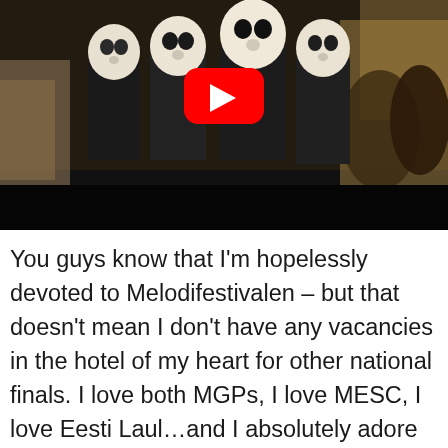[Figure (screenshot): YouTube video thumbnail showing a group of people wearing white cat/animal masks and black shirts walking together at night, with a large red YouTube play button overlay in the center]
You guys know that I'm hopelessly devoted to Melodifestivalen – but that doesn't mean I don't have any vacancies in the hotel of my heart for other national finals. I love both MGPs, I love MESC, I love Eesti Laul…and I absolutely adore Hungary's A Dal. Like Estonia, Hungary always offers a handful of songs that are interesting and experimental, and don't sound like anything you've heard anywhere else. The song I want to draw attention to right now popped up early in the first heat of A Dal, and though it does remind me of various K-pop songs I've listened to in the past (stylistically) it's not a